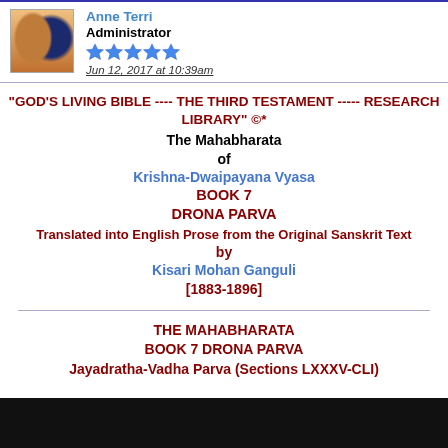Anne Terri
Administrator
★★★★★
Jun 12, 2017 at 10:39am
"GOD'S LIVING BIBLE ---- THE THIRD TESTAMENT ----- RESEARCH LIBRARY" ©*
The Mahabharata
of
Krishna-Dwaipayana Vyasa
BOOK 7
DRONA PARVA
Translated into English Prose from the Original Sanskrit Text
by
Kisari Mohan Ganguli
[1883-1896]
THE MAHABHARATA
BOOK 7 DRONA PARVA
Jayadratha-Vadha Parva (Sections LXXXV-CLI)